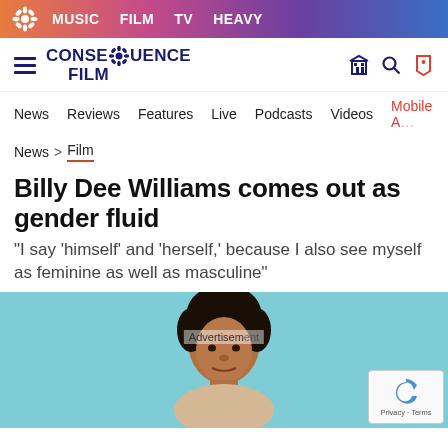MUSIC  FILM  TV  HEAVY
[Figure (logo): Consequence Film logo with gear icon, hamburger menu, search and tag icons]
News  Reviews  Features  Live  Podcasts  Videos  Mobile App
News > Film
Billy Dee Williams comes out as gender fluid
"I say 'himself' and 'herself,' because I also see myself as feminine as well as masculine"
[Figure (photo): Billy Dee Williams portrait photo with light blue background, showing face and upper body. An 'Advertisement' watermark overlay is visible. A reCAPTCHA Privacy-Terms widget is in the bottom right corner.]